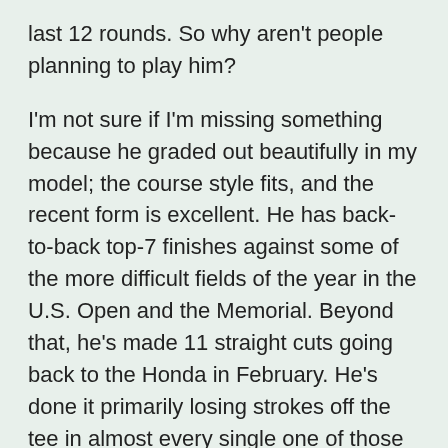last 12 rounds. So why aren't people planning to play him?
I'm not sure if I'm missing something because he graded out beautifully in my model; the course style fits, and the recent form is excellent. He has back-to-back top-7 finishes against some of the more difficult fields of the year in the U.S. Open and the Memorial. Beyond that, he's made 11 straight cuts going back to the Honda in February. He's done it primarily losing strokes off the tee in almost every single one of those events.
This is a week where the off the tee game will be heavily weighted on the accuracy side, rather than the distance. That bodes well for McCarthy who averages just 293 yards off the tee, but hits 64% of his fairways. Additionally, he's 8th in this field in fairways gained on courses under 7,200 yards. With his fairway finding